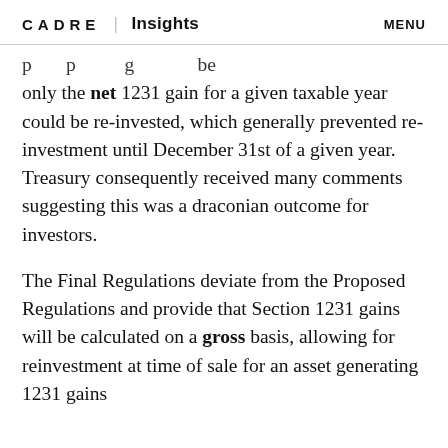CADRE | Insights   MENU
…p…p…g…be only the net 1231 gain for a given taxable year could be re-invested, which generally prevented re-investment until December 31st of a given year. Treasury consequently received many comments suggesting this was a draconian outcome for investors.
The Final Regulations deviate from the Proposed Regulations and provide that Section 1231 gains will be calculated on a gross basis, allowing for reinvestment at time of sale for an asset generating 1231 gains